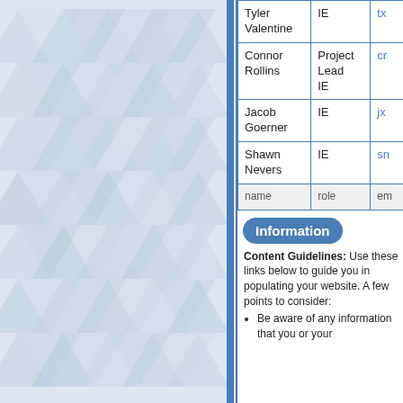[Figure (illustration): Decorative geometric triangle pattern background on left side of page in light blue/grey tones]
| name | role | email |
| --- | --- | --- |
| Tyler Valentine | IE | tx |
| Connor Rollins | Project Lead IE | cr |
| Jacob Goerner | IE | jx |
| Shawn Nevers | IE | sn |
| name | role | em |
Information
Content Guidelines: Use these links below to guide you in populating your website. A few points to consider:
Be aware of any information that you or your